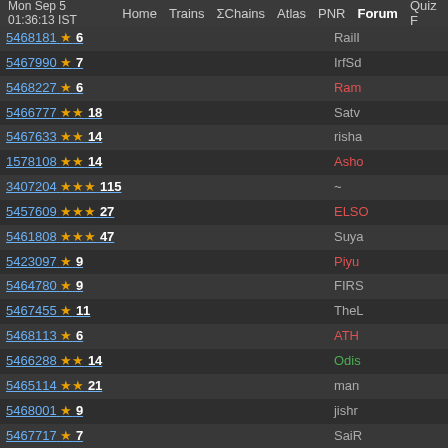Mon Sep 5 01:36:13 IST  Home  Trains  ΣChains  Atlas  PNR  Forum  Quiz F
| ID / Stars / Count | Author |
| --- | --- |
| 5468181 ★ 6 | RailI |
| 5467990 ★ 7 | IrfSd |
| 5468227 ★ 6 | Ram |
| 5466777 ★★ 18 | Satv |
| 5467633 ★★ 14 | risha |
| 1578108 ★★ 14 | Asho |
| 3407204 ★★★ 115 | ~ |
| 5457609 ★★★ 27 | ELSO |
| 5461808 ★★★ 47 | Suya |
| 5423097 ★ 9 | Piyu |
| 5464780 ★ 9 | FIRS |
| 5467455 ★ 11 | TheL |
| 5468113 ★ 6 | ATH |
| 5466288 ★★ 14 | Odis |
| 5465114 ★★ 21 | man |
| 5468001 ★ 9 | jishr |
| 5467717 ★ 7 | SaiR |
| 5467590 ★ 8 | Ram |
| 5467416 ★★★ 48 | Pani |
| 5467833 ★★ 15 | RFIR |
| 5467699 ★ 9 | Vish |
| 5467843 ★ 6 | Sidd |
| 5436398 ★★ 12 | Sidd |